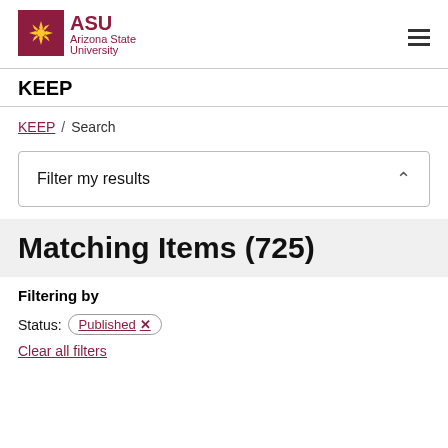[Figure (logo): ASU Arizona State University logo with maroon and gold sunburst icon]
KEEP
KEEP / Search
Filter my results
Matching Items (725)
Filtering by
Status: Published ✕
Clear all filters